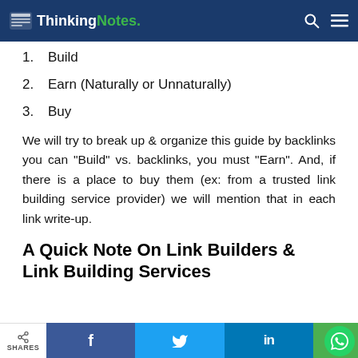ThinkingNotes.
1. Build
2. Earn (Naturally or Unnaturally)
3. Buy
We will try to break up & organize this guide by backlinks you can "Build" vs. backlinks, you must "Earn". And, if there is a place to buy them (ex: from a trusted link building service provider) we will mention that in each link write-up.
A Quick Note On Link Builders & Link Building Services